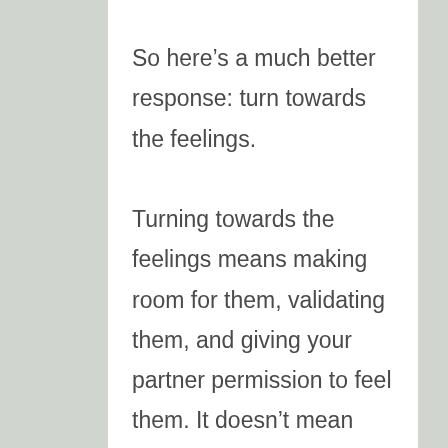So here's a much better response: turn towards the feelings.

Turning towards the feelings means making room for them, validating them, and giving your partner permission to feel them. It doesn't mean that you're agreeing with their interpretation of events. It means that you understand that their feelings